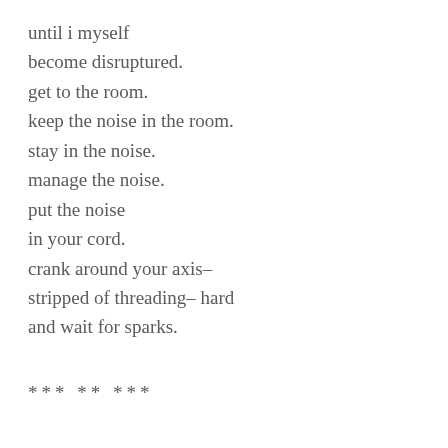until i myself
become disruptured.
get to the room.
keep the noise in the room.
stay in the noise.
manage the noise.
put the noise
in your cord.
crank around your axis–
stripped of threading– hard
and wait for sparks.
*** ** ***